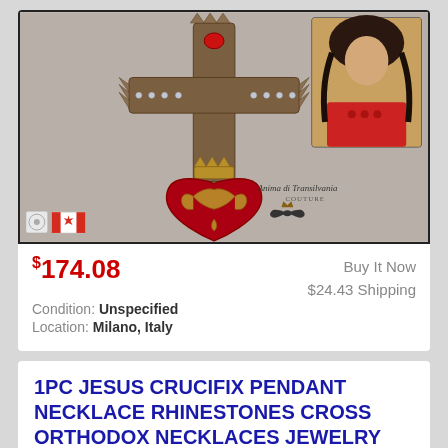[Figure (photo): Product photo of an ornate gothic cross necklace with a red heart pendant, rhinestone decorations, and a small inset portrait photo in the upper right corner. Canadian flag and seller icons in lower left. 'Anima di Transilvania Couture' brand logo in lower right.]
$174.08
Buy It Now
$24.43 Shipping
Condition: Unspecified
Location: Milano, Italy
1PC JESUS CRUCIFIX PENDANT NECKLACE RHINESTONES CROSS ORTHODOX NECKLACES JEWELRY